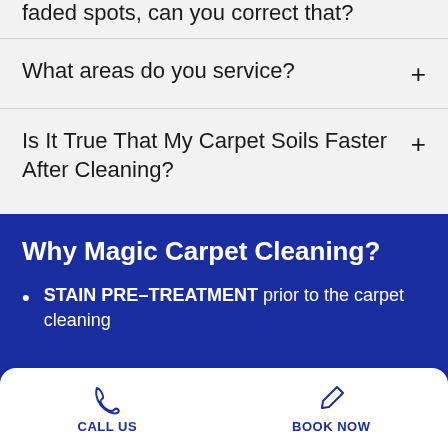faded spots, can you correct that?
What areas do you service?
Is It True That My Carpet Soils Faster After Cleaning?
Why Magic Carpet Cleaning?
STAIN PRE-TREATMENT prior to the carpet cleaning
CALL US | BOOK NOW